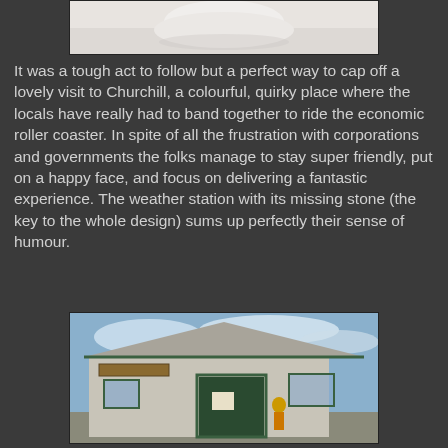[Figure (photo): Partial view of a white seal or polar animal on snow/ice, cropped at the top of the page]
It was a tough act to follow but a perfect way to cap off a lovely visit to Churchill, a colourful, quirky place where the locals have really had to band together to ride the economic roller coaster. In spite of all the frustration with corporations and governments the folks manage to stay super friendly, put on a happy face, and focus on delivering a fantastic experience. The weather station with its missing stone (the key to the whole design) sums up perfectly their sense of humour.
[Figure (photo): A small commercial building with green trim under a partly cloudy sky in Churchill; a person stands near the entrance]